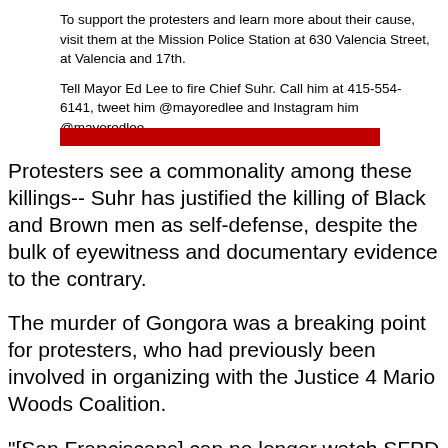To support the protesters and learn more about their cause, visit them at the Mission Police Station at 630 Valencia Street, at Valencia and 17th.
Tell Mayor Ed Lee to fire Chief Suhr. Call him at 415-554-6141, tweet him @mayoredlee and Instagram him @mayoredlee.
[Figure (other): Horizontal red decorative bar/divider]
Protesters see a commonality among these killings-- Suhr has justified the killing of Black and Brown men as self-defense, despite the bulk of eyewitness and documentary evidence to the contrary.
The murder of Gongora was a breaking point for protesters, who had previously been involved in organizing with the Justice 4 Mario Woods Coalition.
"[San Franciscans] can no longer watch SFPD serve only the wealthy and privileged of this community as they murder unarmed Black, Brown, poor and disabled citizens," said local rap artist and hunger